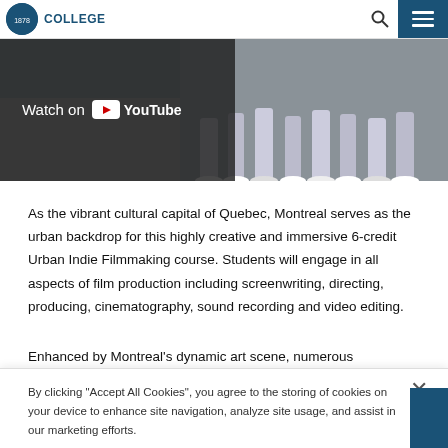COLLEGE
[Figure (screenshot): YouTube video thumbnail showing students' feet/legs on a street, with 'Watch on YouTube' overlay button on the left side]
As the vibrant cultural capital of Quebec, Montreal serves as the urban backdrop for this highly creative and immersive 6-credit Urban Indie Filmmaking course. Students will engage in all aspects of film production including screenwriting, directing, producing, cinematography, sound recording and video editing.
Enhanced by Montreal's dynamic art scene, numerous
By clicking "Accept All Cookies", you agree to the storing of cookies on your device to enhance site navigation, analyze site usage, and assist in our marketing efforts.